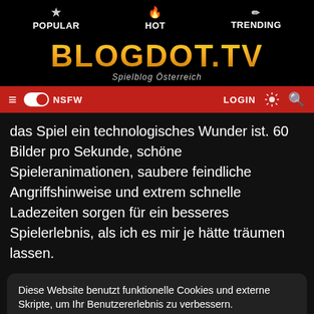POPULAR | HOT | TRENDING
[Figure (logo): BLOGDOT.TV logo with golden gradient text and subtitle 'Spielblog Österreich']
≡ NSFW toggle | LOGIN
das Spiel ein technologisches Wunder ist. 60 Bilder pro Sekunde, schöne Spieleranimationen, saubere feindliche Angriffshinweise und extrem schnelle Ladezeiten sorgen für ein besseres Spielerlebnis, als ich es mir je hätte träumen lassen.
Diese Website benutzt funktionelle Cookies und externe Skripte, um Ihr Benutzererlebnis zu verbessern. WEITERE INFORMATIONEN | AKZEPTIEREN